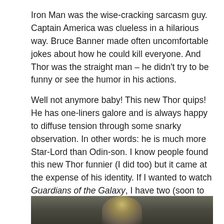Iron Man was the wise-cracking sarcasm guy. Captain America was clueless in a hilarious way. Bruce Banner made often uncomfortable jokes about how he could kill everyone. And Thor was the straight man – he didn't try to be funny or see the humor in his actions.
Well not anymore baby! This new Thor quips! He has one-liners galore and is always happy to diffuse tension through some snarky observation. In other words: he is much more Star-Lord than Odin-son. I know people found this new Thor funnier (I did too) but it came at the expense of his identity. If I wanted to watch Guardians of the Galaxy, I have two (soon to be three) films to choose from. I've got my snark fix. Thor was supposed to be my superhero Shakespeare and that is now completely gone.
[Figure (photo): Partial photo showing what appears to be a person, cropped at bottom of page, dark toned background]